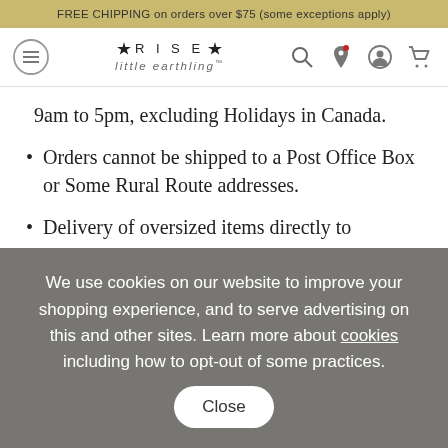FREE CHIPPING on orders over $75 (some exceptions apply)
[Figure (logo): Rise Little Earthling logo with hamburger menu icon and navigation icons (search, location, account, cart)]
9am to 5pm, excluding Holidays in Canada.
Orders cannot be shipped to a Post Office Box or Some Rural Route addresses.
Delivery of oversized items directly to customers in certain remote locations may not be possible or may incur
We use cookies on our website to improve your shopping experience, and to serve advertising on this and other sites. Learn more about cookies including how to opt-out of some practices.